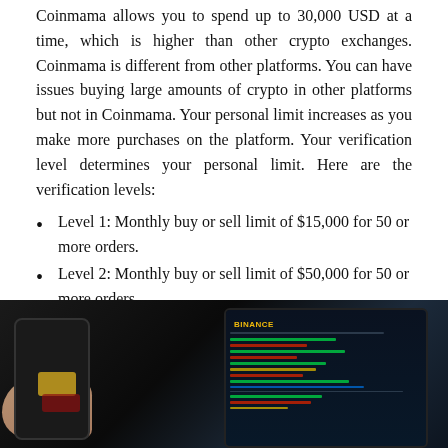Coinmama allows you to spend up to 30,000 USD at a time, which is higher than other crypto exchanges. Coinmama is different from other platforms. You can have issues buying large amounts of crypto in other platforms but not in Coinmama. Your personal limit increases as you make more purchases on the platform. Your verification level determines your personal limit. Here are the verification levels:
Level 1: Monthly buy or sell limit of $15,000 for 50 or more orders.
Level 2: Monthly buy or sell limit of $50,000 for 50 or more orders.
Level 3: The monthly buy-or-sell limit is $100,000 for orders greater than 50
[Figure (photo): Photo of a hand holding a smartphone with credit cards visible, next to a tablet showing a cryptocurrency trading platform (Binance) with colored price charts and data.]